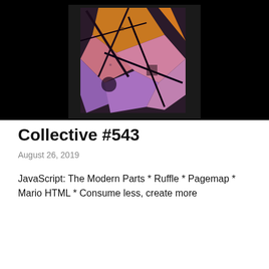[Figure (illustration): Abstract digital artwork with dark background, featuring geometric and organic shapes in orange, pink, purple, and lavender tones resembling a deconstructed figure or mechanical parts]
Collective #543
August 26, 2019
JavaScript: The Modern Parts * Ruffle * Pagemap * Mario HTML * Consume less, create more